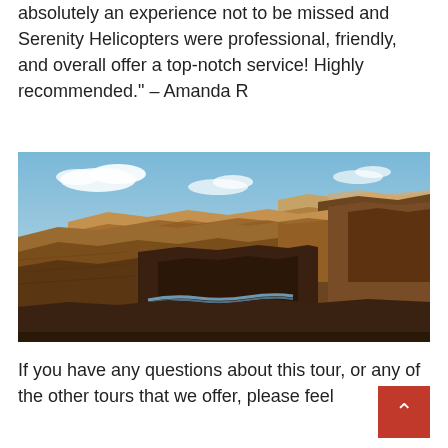absolutely an experience not to be missed and Serenity Helicopters were professional, friendly, and overall offer a top-notch service! Highly recommended." – Amanda R
[Figure (photo): Aerial photograph of the Grand Canyon showing layered red rock formations, deep gorge, a winding river at the bottom, and blue sky with scattered clouds above.]
If you have any questions about this tour, or any of the other tours that we offer, please feel free to contact us at 928-500-7781 or by choosing one of